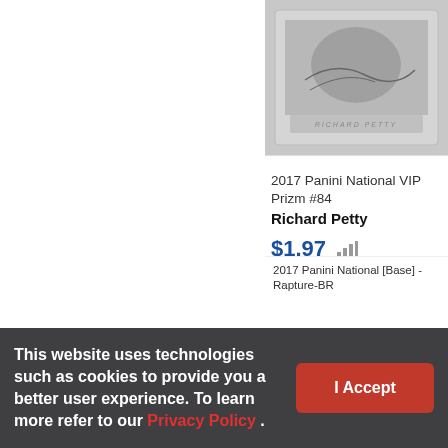[Figure (photo): Trading card image at top right - Richard Petty 2017 Panini National VIP Prizm #84]
2017 Panini National VIP Prizm #84
Richard Petty
$1.97
[Figure (photo): Baseball rookie card at bottom right - Baltimore Orioles player, 2017 Panini National [Base] - Rapture]
2017 Panini National [Base] - Rapture-BR
This website uses technologies such as cookies to provide you a better user experience. To learn more refer to our Privacy Policy .